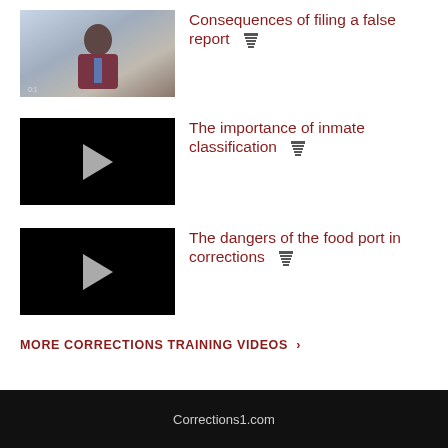[Figure (photo): Video thumbnail showing a man in a suit speaking, appears to be a corrections training video about filing false reports]
Consequences of filing a false report 🏛
[Figure (screenshot): Black video player thumbnail with white play button triangle for inmate classification video]
The importance of inmate classification 🏛
[Figure (screenshot): Black video player thumbnail with white play button triangle for food port dangers video]
The dangers of the food port in corrections 🏛
MORE CORRECTIONS TRAINING VIDEOS  ›
[Figure (logo): Corrections1.com logo in footer bar]